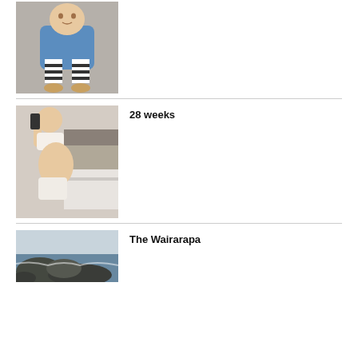[Figure (photo): Baby/toddler in blue denim jacket and striped leggings sitting on carpet, looking up]
[Figure (photo): Pregnant woman in white underwear taking mirror selfie at 28 weeks]
28 weeks
[Figure (photo): Coastal rocky landscape photo - The Wairarapa]
The Wairarapa